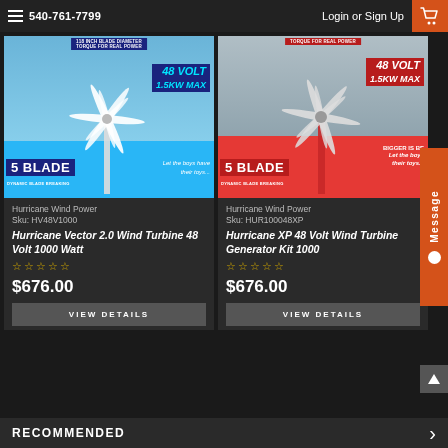540-761-7799  Login or Sign Up
[Figure (photo): Wind turbine product image - 5 Blade Hurricane Vector 2.0, 48 Volt 1.5KW MAX, blue sky background]
Hurricane Wind Power
Sku: HV48V1000
Hurricane Vector 2.0 Wind Turbine 48 Volt 1000 Watt
$676.00
VIEW DETAILS
[Figure (photo): Wind turbine product image - 5 Blade Hurricane XP 48 Volt, red background, BIGGER IS BE(TTER)]
Hurricane Wind Power
Sku: HUR100048XP
Hurricane XP 48 Volt Wind Turbine Generator Kit 1000
$676.00
VIEW DETAILS
RECOMMENDED